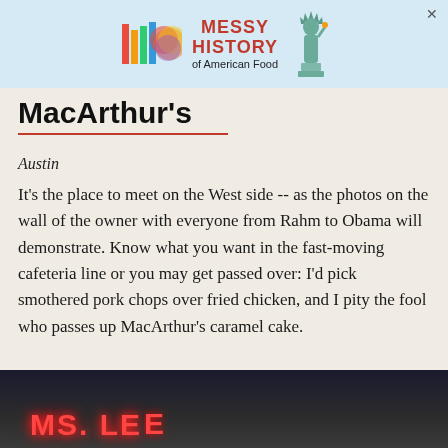[Figure (screenshot): Advertisement banner for 'Messy History of American Food' featuring a colorful disc logo and Statue of Liberty graphic with a close button.]
MacArthur's
Austin
It's the place to meet on the West side -- as the photos on the wall of the owner with everyone from Rahm to Obama will demonstrate. Know what you want in the fast-moving cafeteria line or you may get passed over: I'd pick smothered pork chops over fried chicken, and I pity the fool who passes up MacArthur's caramel cake.
[Figure (photo): Exterior photo of a restaurant building showing a neon sign reading 'MS. LEE' or similar, with dark architectural details.]